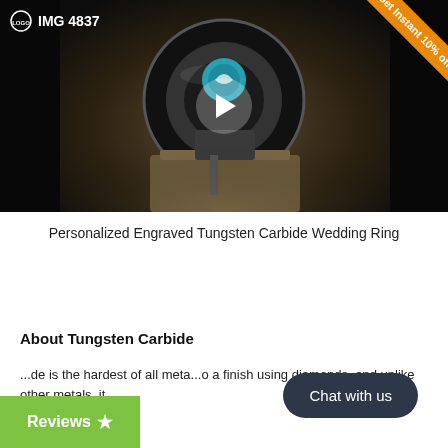[Figure (screenshot): Video thumbnail showing a tungsten carbide ring being worked on a machine, with a play button overlay, logo and 'IMG 4837' label top-left, and an orange '10% off' ribbon top-right.]
Personalized Engraved Tungsten Carbide Wedding Ring
About Tungsten Carbide
...de is the hardest of all meta...o a finish using diamonds, and unlike other metals, it ...